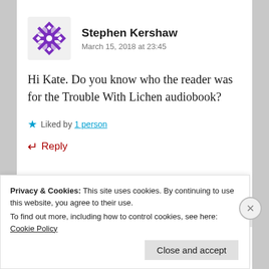[Figure (illustration): Purple snowflake/geometric avatar icon for user Stephen Kershaw]
Stephen Kershaw
March 15, 2018 at 23:45
Hi Kate. Do you know who the reader was for the Trouble With Lichen audiobook?
★ Liked by 1 person
↵ Reply
Privacy & Cookies: This site uses cookies. By continuing to use this website, you agree to their use.
To find out more, including how to control cookies, see here: Cookie Policy
Close and accept